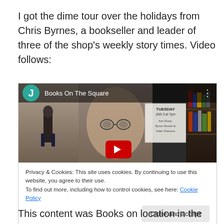I got the dime tour over the holidays from Chris Byrnes, a bookseller and leader of three of the shop's weekly story times. Video follows:
[Figure (screenshot): Embedded YouTube video thumbnail for 'Books On The Square' channel showing a woman's face in the center, a street scene on the left, and a bookshelf on the right. A red YouTube play button is visible at center bottom. A cookie consent notice overlay is shown below the video thumbnail.]
Privacy & Cookies: This site uses cookies. By continuing to use this website, you agree to their use.
To find out more, including how to control cookies, see here: Cookie Policy
This content was Books on location in the